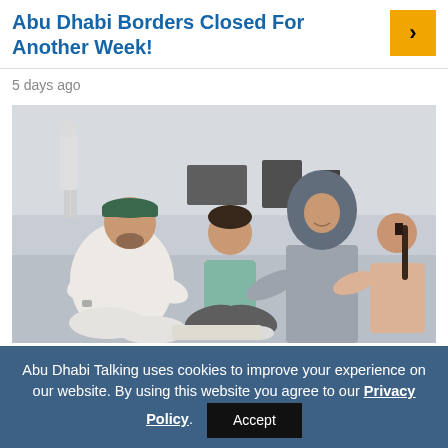Abu Dhabi Borders Closed For Another Week!
5 days ago
[Figure (photo): A family sitting on the floor at what appears to be an airport or transit area. A man in white wearing a green cap sits on the left, a young boy in a teal shirt sits in the middle, and a woman in a grey hijab sits on the right with a young girl. They appear to be engaged in conversation and sharing something.]
Abu Dhabi Talking uses cookies to improve your experience on our website. By using this website you agree to our Privacy Policy. Accept